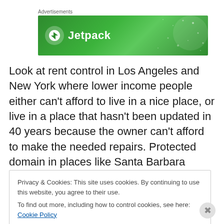Advertisements
[Figure (other): Jetpack advertisement banner with green gradient background, white Jetpack logo icon and text]
Look at rent control in Los Angeles and New York where lower income people either can’t afford to live in a nice place, or live in a place that hasn’t been updated in 40 years because the owner can’t afford to make the needed repairs. Protected domain in places like Santa Barbara
Privacy & Cookies: This site uses cookies. By continuing to use this website, you agree to their use.
To find out more, including how to control cookies, see here: Cookie Policy